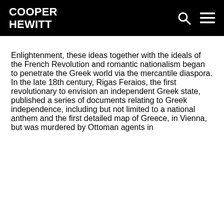COOPER HEWITT
Enlightenment, these ideas together with the ideals of the French Revolution and romantic nationalism began to penetrate the Greek world via the mercantile diaspora. In the late 18th century, Rigas Feraios, the first revolutionary to envision an independent Greek state, published a series of documents relating to Greek independence, including but not limited to a national anthem and the first detailed map of Greece, in Vienna, but was murdered by Ottoman agents in